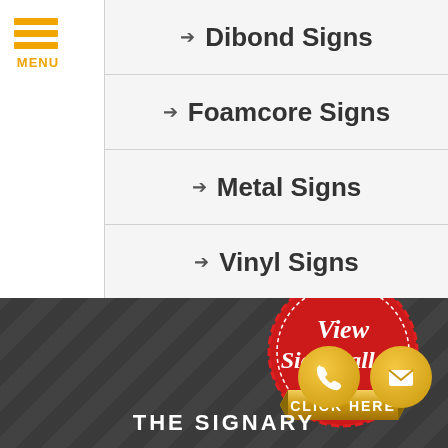[Figure (other): Yellow hamburger menu icon with three horizontal bars and MENU text below]
Dibond Signs
Foamcore Signs
Metal Signs
Vinyl Signs
[Figure (other): Red wax seal badge with View Sign Gallery text and gold CLICK HERE ribbon banner]
[Figure (other): Two gold circular buttons: phone icon and envelope/email icon]
THE SIGNARY